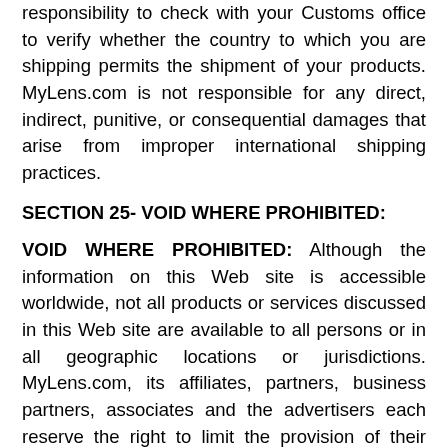responsibility to check with your Customs office to verify whether the country to which you are shipping permits the shipment of your products. MyLens.com is not responsible for any direct, indirect, punitive, or consequential damages that arise from improper international shipping practices.
SECTION 25- VOID WHERE PROHIBITED:
VOID WHERE PROHIBITED: Although the information on this Web site is accessible worldwide, not all products or services discussed in this Web site are available to all persons or in all geographic locations or jurisdictions. MyLens.com, its affiliates, partners, business partners, associates and the advertisers each reserve the right to limit the provision of their products or services to any person, geographic area, or jurisdiction they so desire and to limit the quantities of any products or services that they provide. Any offer for any product or service made in the materials on this Web site is void where prohibited.